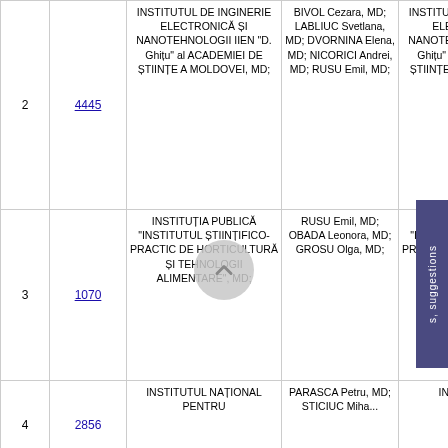| # | ID | Organization | Authors | Organization (repeat) |
| --- | --- | --- | --- | --- |
| 2 | 4445 | INSTITUTUL DE INGINERIE ELECTRONICĂ ȘI NANOTEHNOLOGII IIEN "D. Ghițu" al ACADEMIEI DE ȘTIINȚE A MOLDOVEI, MD; | BIVOL Cezara, MD; LABLIUC Svetlana, MD; DVORNINA Elena, MD; NICORICI Andrei, MD; RUSU Emil, MD; | INSTITUTUL DE INGINERIE ELECTRONICĂ ȘI NANOTEHNOLOGII IIEN "D. Ghițu" al ACADEMIEI DE ȘTIINȚE A MOLDOVEI, MD; |
| 3 | 1070 | INSTITUȚIA PUBLICĂ "INSTITUTUL ȘTIINȚIFICO-PRACTIC DE HORTICULTURĂ ȘI TEHNOLOGII ALIMENTARE", MD; | RUSU Emil, MD; OBADA Leonora, MD; GROSU Olga, MD; | INSTITUȚIA PUBLICĂ "INSTITUTUL ȘTIINȚIFICO-PRACTIC DE HORTICULTURĂ ȘI TEHNOLOGII ALIMENTARE", MD; |
| 4 | 2856 | INSTITUTUL NAȚIONAL PENTRU... | PARASCA Petru, MD; STICIUC Mihail, MD... | INSTITUTUL NAȚIONAL PENTRU... |